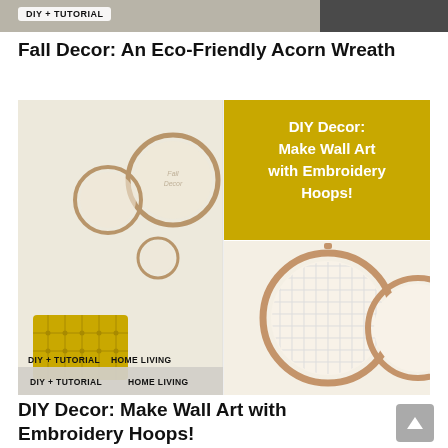[Figure (photo): Top strip showing partial image with DIY + TUTORIAL badge]
DIY + TUTORIAL
Fall Decor: An Eco-Friendly Acorn Wreath
[Figure (photo): Two-panel image: left shows embroidery hoops as wall art with a yellow tufted chair; top-right shows yellow box with text 'DIY Decor: Make Wall Art with Embroidery Hoops!'; bottom-right shows close-up of embroidery hoops on wall]
DIY + TUTORIAL   HOME LIVING
DIY Decor: Make Wall Art with Embroidery Hoops!